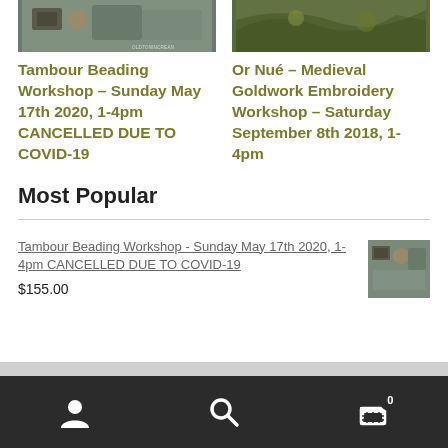[Figure (photo): Photo of tambour beading workshop, top left card image]
Tambour Beading Workshop – Sunday May 17th 2020, 1-4pm CANCELLED DUE TO COVID-19
[Figure (photo): Photo of Or Nué goldwork embroidery, top right card image]
Or Nué – Medieval Goldwork Embroidery Workshop – Saturday September 8th 2018, 1-4pm
Most Popular
Tambour Beading Workshop - Sunday May 17th 2020, 1-4pm CANCELLED DUE TO COVID-19
$155.00
[Figure (photo): Thumbnail of tambour beading workshop]